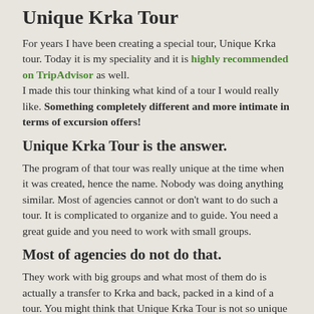Unique Krka Tour
For years I have been creating a special tour, Unique Krka tour. Today it is my speciality and it is highly recommended on TripAdvisor as well.
I made this tour thinking what kind of a tour I would really like. Something completely different and more intimate in terms of excursion offers!
Unique Krka Tour is the answer.
The program of that tour was really unique at the time when it was created, hence the name. Nobody was doing anything similar. Most of agencies cannot or don't want to do such a tour. It is complicated to organize and to guide. You need a great guide and you need to work with small groups.
Most of agencies do not do that.
They work with big groups and what most of them do is actually a transfer to Krka and back, packed in a kind of a tour. You might think that Unique Krka Tour is not so unique anymore. Nothing is further